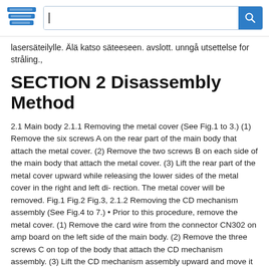[Search bar with logo]
lasersäteilylle. Älä katso säteeseen. avslott. unngå utsettelse for stråling.,
SECTION 2 Disassembly Method
2.1 Main body 2.1.1 Removing the metal cover (See Fig.1 to 3.) (1) Remove the six screws A on the rear part of the main body that attach the metal cover. (2) Remove the two screws B on each side of the main body that attach the metal cover. (3) Lift the rear part of the metal cover upward while releasing the lower sides of the metal cover in the right and left di- rection. The metal cover will be removed. Fig.1 Fig.2 Fig.3, 2.1.2 Removing the CD mechanism assembly (See Fig.4 to 7.) • Prior to this procedure, remove the metal cover. (1) Remove the card wire from the connector CN302 on amp board on the left side of the main body. (2) Remove the three screws C on top of the body that attach the CD mechanism assembly. (3) Lift the CD mechanism assembly upward and move it backward to remove. (4) Remove the card wire from CN606 on CD